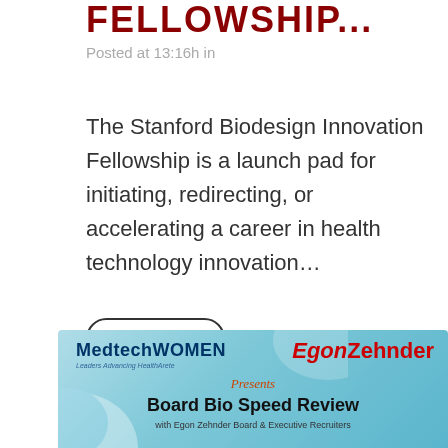FELLOWSHIP...
Posted at 13:16h in
The Stanford Biodesign Innovation Fellowship is a launch pad for initiating, redirecting, or accelerating a career in health technology innovation...
Read More
[Figure (illustration): Banner image for MedtechWOMEN and EgonZehnder event titled 'Board Bio Speed Review' with subtitle 'with Egon Zehnder Board & Executive Recruiters'. Banner has a light blue gradient background with decorative geometric shapes.]